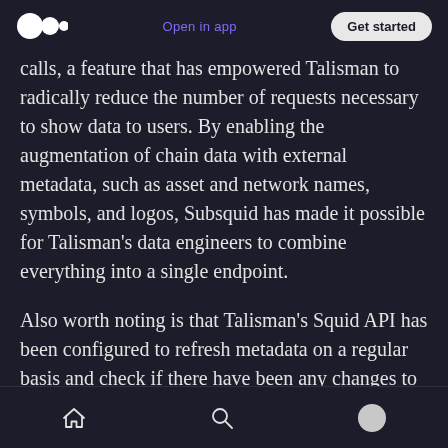Open in app  Get started
calls, a feature that has empowered Talisman to radically reduce the number of requests necessary to show data to users. By enabling the augmentation of chain data with external metadata, such as asset and network names, symbols, and logos, Subsquid has made it possible for Talisman’s data engineers to combine everything into a single endpoint.
Also worth noting is that Talisman’s Squid API has been configured to refresh metadata on a regular basis and check if there have been any changes to this information. In this way, the
Home  Search  Profile